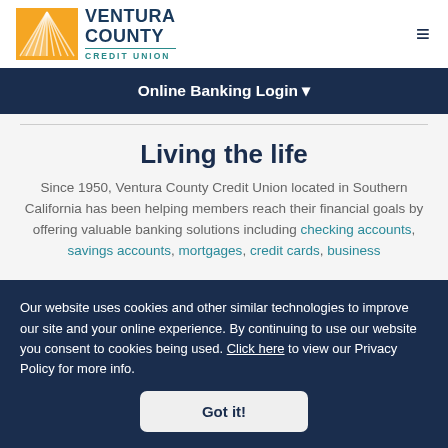[Figure (logo): Ventura County Credit Union logo with sunburst icon and text]
Online Banking Login
Living the life
Since 1950, Ventura County Credit Union located in Southern California has been helping members reach their financial goals by offering valuable banking solutions including checking accounts, savings accounts, mortgages, credit cards, business
Our website uses cookies and other similar technologies to improve our site and your online experience. By continuing to use our website you consent to cookies being used. Click here to view our Privacy Policy for more info.
Got it!